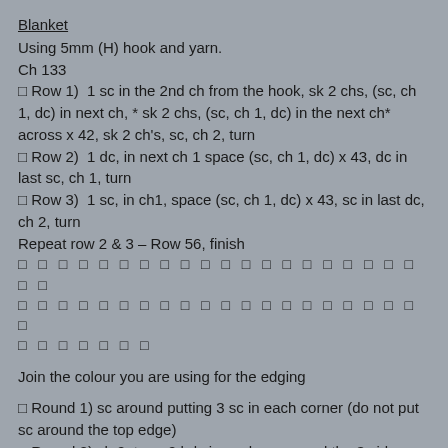Blanket
Using 5mm (H) hook and yarn.
Ch 133
▪ Row 1)  1 sc in the 2nd ch from the hook, sk 2 chs, (sc, ch 1, dc) in next ch, * sk 2 chs, (sc, ch 1, dc) in the next ch* across x 42, sk 2 ch's, sc, ch 2, turn
▪ Row 2)  1 dc, in next ch 1 space (sc, ch 1, dc) x 43, dc in last sc, ch 1, turn
▪ Row 3)  1 sc, in ch1, space (sc, ch 1, dc) x 43, sc in last dc, ch 2, turn
Repeat row 2 & 3 – Row 56, finish
▪ ▪ ▪ ▪ ▪ ▪ ▪ ▪ ▪ ▪ ▪ ▪ ▪ ▪ ▪ ▪ ▪ ▪ ▪ ▪ ▪ ▪ ▪ ▪ ▪ ▪ ▪ ▪ ▪ ▪ ▪ ▪ ▪ ▪ ▪ ▪ ▪ ▪ ▪ ▪ ▪ ▪ ▪
Join the colour you are using for the edging
▪ Round 1) sc around putting 3 sc in each corner (do not put sc around the top edge)
▪ Round 2) ch 2, turn, 2 hdc in each sc around the 3 sides
▪ Round 3) Ch 2, turn, 1 hdc in each hdc around the 3 sides,